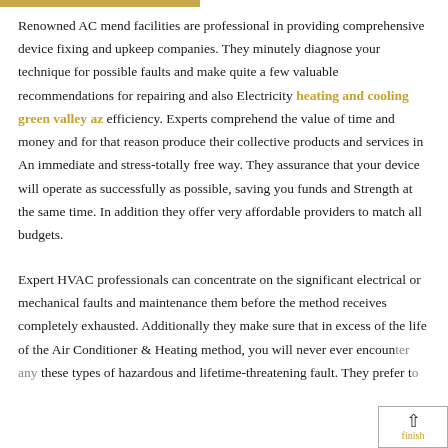Renowned AC mend facilities are professional in providing comprehensive device fixing and upkeep companies. They minutely diagnose your technique for possible faults and make quite a few valuable recommendations for repairing and also Electricity heating and cooling green valley az efficiency. Experts comprehend the value of time and money and for that reason produce their collective products and services in An immediate and stress-totally free way. They assurance that your device will operate as successfully as possible, saving you funds and Strength at the same time. In addition they offer very affordable providers to match all budgets.
Expert HVAC professionals can concentrate on the significant electrical or mechanical faults and maintenance them before the method receives completely exhausted. Additionally they make sure that in excess of the life of the Air Conditioner & Heating method, you will never ever encounter any these types of hazardous and lifetime-threatening fault. They prefer to finish